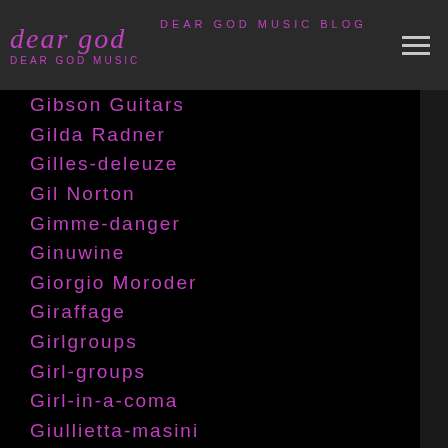dear god — dear god music blog
Gibson Guitars
Gilda Radner
Gilles-deleuze
Gil Norton
Gimme-danger
Ginuwine
Giorgio Moroder
Giraffage
Girlgroups
Girl-groups
Girl-in-a-coma
Giullietta-masini
Gladys Knight
Glam Rock
Glassjaw
Glen-campbell
Glen Matlock